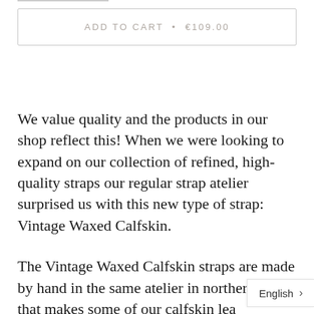ADD TO CART  •  €109.00
We value quality and the products in our shop reflect this! When we were looking to expand on our collection of refined, high-quality straps our regular strap atelier surprised us with this new type of strap: Vintage Waxed Calfskin.
The Vintage Waxed Calfskin straps are made by hand in the same atelier in northern Italy that makes some of our calfskin lea straps. Each one is made to our exa
English  >